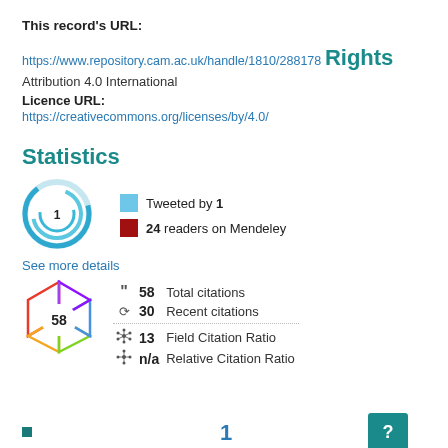This record's URL:
https://www.repository.cam.ac.uk/handle/1810/288178
Rights
Attribution 4.0 International
Licence URL:
https://creativecommons.org/licenses/by/4.0/
Statistics
[Figure (infographic): Altmetric donut badge showing score of 1, with blue ring]
Tweeted by 1
24 readers on Mendeley
See more details
[Figure (infographic): Dimensions citation badge showing 58 citations, rainbow-colored pentagon gem shape]
| Icon | Value | Label |
| --- | --- | --- |
| " | 58 | Total citations |
| clock | 30 | Recent citations |
| network | 13 | Field Citation Ratio |
| network | n/a | Relative Citation Ratio |
1
?